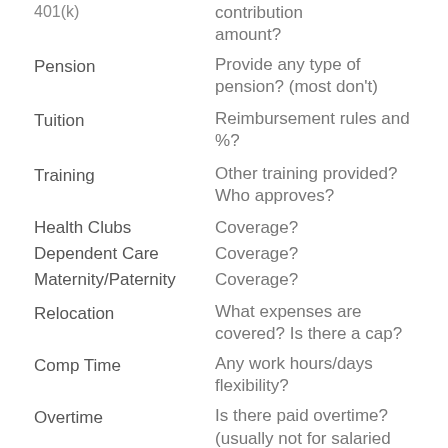...contribution amount?
Pension
Provide any type of pension? (most don't)
Tuition
Reimbursement rules and %?
Training
Other training provided? Who approves?
Health Clubs
Coverage?
Dependent Care
Coverage?
Maternity/Paternity
Coverage?
Relocation
What expenses are covered? Is there a cap?
Comp Time
Any work hours/days flexibility?
Overtime
Is there paid overtime? (usually not for salaried roles)
When will my first...